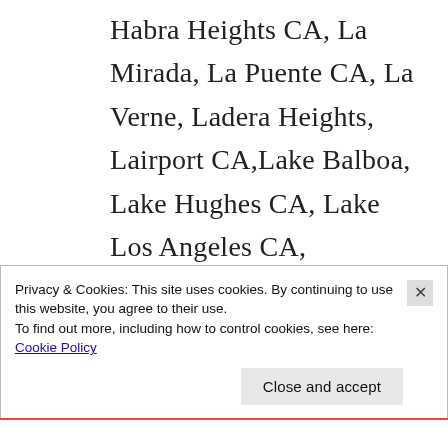Habra Heights CA, La Mirada, La Puente CA, La Verne, Ladera Heights, Lairport CA,Lake Balboa, Lake Hughes CA, Lake Los Angeles CA, Lakewood CA, Lamanda Park CA, Lancaster CA, Lawndale CA, Leffingwell ca, Lennox CA, Leona Valley CA, Lincoln Heights CA, Lincoln Village CA, Linda Vista ca, Littlerock CA, Lomita CA, Long
Privacy & Cookies: This site uses cookies. By continuing to use this website, you agree to their use.
To find out more, including how to control cookies, see here: Cookie Policy
Close and accept